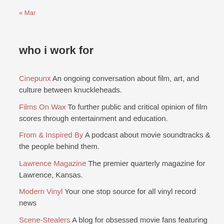« Mar
who i work for
Cinepunx An ongoing conversation about film, art, and culture between knuckleheads.
Films On Wax To further public and critical opinion of film scores through entertainment and education.
From & Inspired By A podcast about movie soundtracks & the people behind them.
Lawrence Magazine The premier quarterly magazine for Lawrence, Kansas.
Modern Vinyl Your one stop source for all vinyl record news
Scene-Stealers A blog for obsessed movie fans featuring giveaways, Top 10s, and badass movie and music columns and reviews!